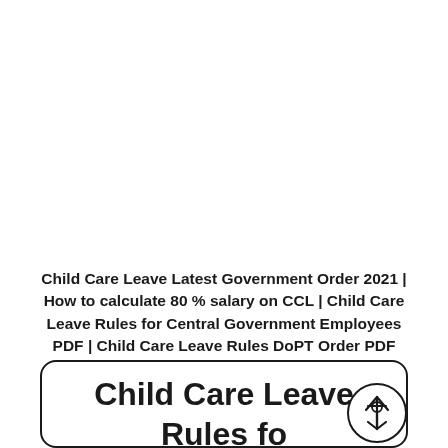Child Care Leave Latest Government Order 2021 | How to calculate 80 % salary on CCL | Child Care Leave Rules for Central Government Employees PDF | Child Care Leave Rules DoPT Order PDF
Child Care Leave Rules for Central Government Employees